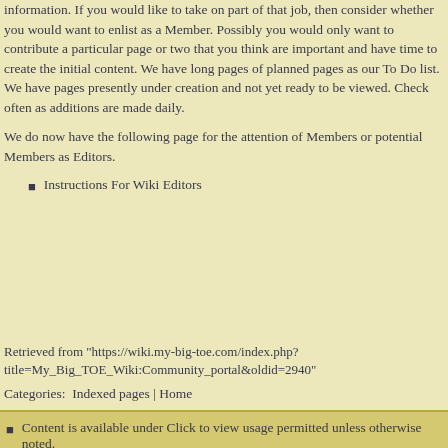information. If you would like to take on part of that job, then consider whether you would want to enlist as a Member. Possibly you would only want to contribute a particular page or two that you think are important and have time to create the initial content. We have long pages of planned pages as our To Do list. We have pages presently under creation and not yet ready to be viewed. Check often as additions are made daily.
We do now have the following page for the attention of Members or potential Members as Editors.
Instructions For Wiki Editors
Retrieved from "https://wiki.my-big-toe.com/index.php?title=My_Big_TOE_Wiki:Community_portal&oldid=2940"
Categories:  Indexed pages | Home
Content is available under Click to view usage permitted unless otherwise noted.